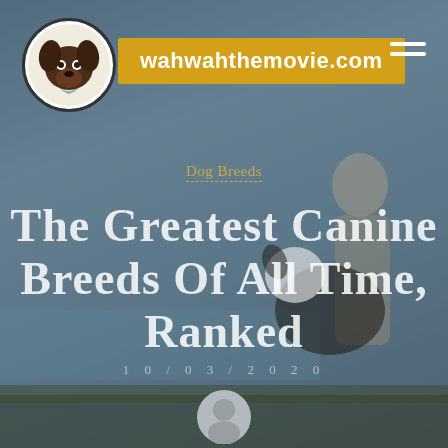[Figure (logo): Circular logo with dog illustration on white background]
wahwahthemovie.com
Dog Breeds
The Greatest Canine Breeds Of All Time, Ranked
10/03/2020
Author
[Figure (photo): Background photo of a man with a black and white dog outdoors near water]